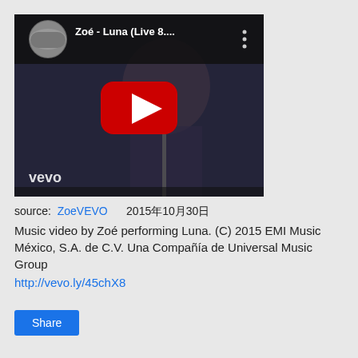[Figure (screenshot): YouTube video thumbnail showing Zoé - Luna (Live 8.... with a red play button in the center, vevo watermark in lower-left, and band photo avatar in upper-left with title text]
source: ZoeVEVO      2015年10月30日
Music video by Zoé performing Luna. (C) 2015 EMI Music México, S.A. de C.V. Una Compañía de Universal Music Group
http://vevo.ly/45chX8
Share